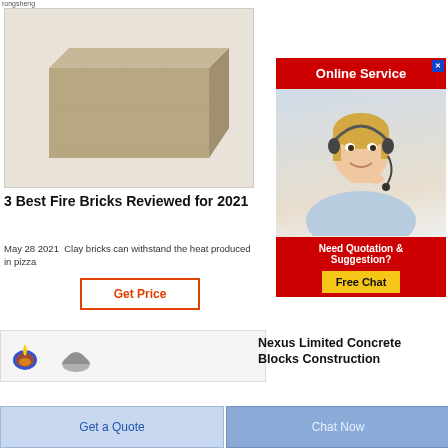[Figure (photo): A clay fire brick photographed against a light background, showing a tan/beige rectangular block.]
3 Best Fire Bricks Reviewed for 2021
May 28 2021  Clay bricks can withstand the heat produced in pizza
Get Price
[Figure (photo): Online Service advertisement banner with a woman wearing a headset, red header, and Free Chat button.]
[Figure (logo): Small logo icon (flame/globe style) and a grey abstract shape in a card strip at bottom left.]
Nexus Limited Concrete Blocks Construction
Get a Quote
Chat Now